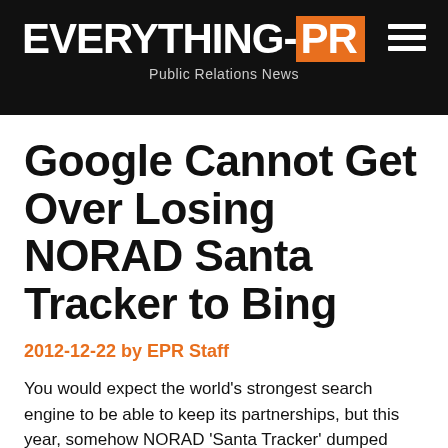EVERYTHING-PR — Public Relations News
Google Cannot Get Over Losing NORAD Santa Tracker to Bing
2012-12-22 by EPR Staff
You would expect the world's strongest search engine to be able to keep its partnerships, but this year, somehow NORAD 'Santa Tracker' dumped Google for Bing.
Google has been supporting NORAD to track Santa Claus